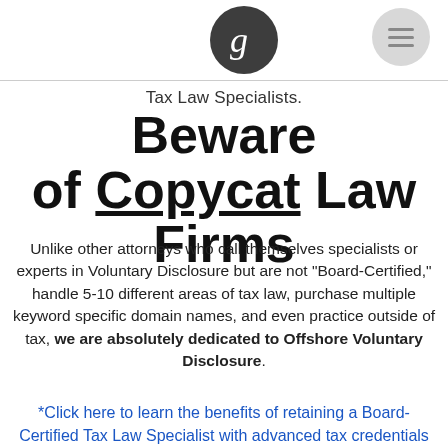Tax Law Specialists.
Beware of Copycat Law Firms
Unlike other attorneys who call themselves specialists or experts in Voluntary Disclosure but are not “Board-Certified,” handle 5-10 different areas of tax law, purchase multiple keyword specific domain names, and even practice outside of tax, we are absolutely dedicated to Offshore Voluntary Disclosure.
*Click here to learn the benefits of retaining a Board-Certified Tax Law Specialist with advanced tax credentials